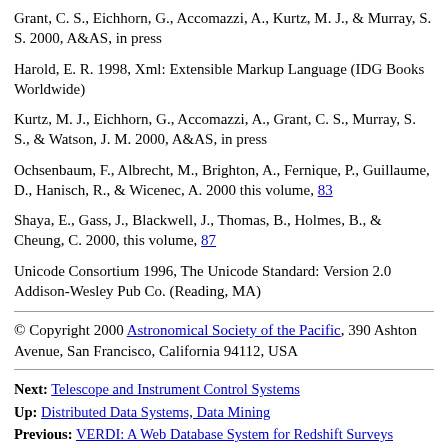Grant, C. S., Eichhorn, G., Accomazzi, A., Kurtz, M. J., & Murray, S. S. 2000, A&AS, in press
Harold, E. R. 1998, Xml: Extensible Markup Language (IDG Books Worldwide)
Kurtz, M. J., Eichhorn, G., Accomazzi, A., Grant, C. S., Murray, S. S., & Watson, J. M. 2000, A&AS, in press
Ochsenbaum, F., Albrecht, M., Brighton, A., Fernique, P., Guillaume, D., Hanisch, R., & Wicenec, A. 2000 this volume, 83
Shaya, E., Gass, J., Blackwell, J., Thomas, B., Holmes, B., & Cheung, C. 2000, this volume, 87
Unicode Consortium 1996, The Unicode Standard: Version 2.0 Addison-Wesley Pub Co. (Reading, MA)
© Copyright 2000 Astronomical Society of the Pacific, 390 Ashton Avenue, San Francisco, California 94112, USA
Next: Telescope and Instrument Control Systems
Up: Distributed Data Systems, Data Mining
Previous: VERDI: A Web Database System for Redshift Surveys
Table of Contents - Subject Index - Author Index - PS reprint -